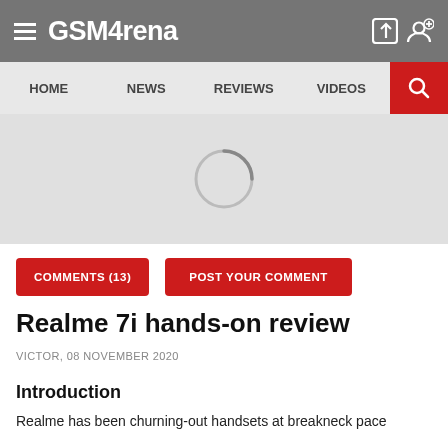GSMArena
HOME  NEWS  REVIEWS  VIDEOS
[Figure (screenshot): Loading spinner on gray background]
COMMENTS (13)   POST YOUR COMMENT
Realme 7i hands-on review
VICTOR, 08 NOVEMBER 2020
Introduction
Realme has been churning-out handsets at breakneck pace